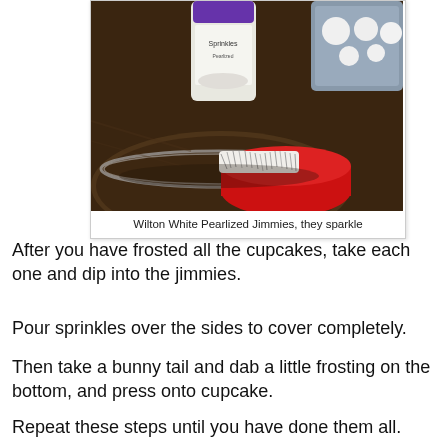[Figure (photo): A photo showing a red frosted cupcake being dipped into a bowl of white pearlized jimmie sprinkles, with a Wilton sprinkles container and a container of white round candies/bunny tails in the background on a wooden surface.]
Wilton White Pearlized Jimmies, they sparkle
After you have frosted all the cupcakes, take each one and dip into the jimmies.
Pour sprinkles over the sides to cover completely.
Then take a bunny tail and dab a little frosting on the bottom, and press onto cupcake.
Repeat these steps until you have done them all.